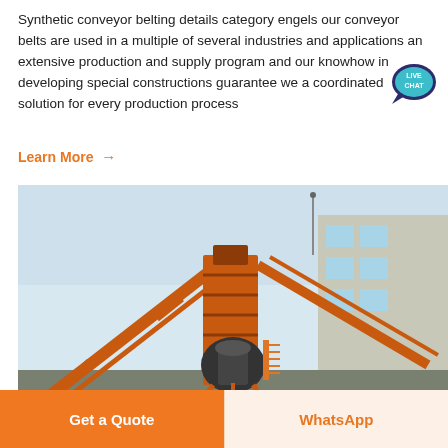Synthetic conveyor belting details category engels our conveyor belts are used in a multiple of several industries and applications an extensive production and supply program and our knowhow in developing special constructions guarantee we a coordinated solution for every production process
Learn More →
[Figure (photo): Industrial conveyor belt system with orange metal framework and machinery at a production facility, with a building visible on the right side.]
Get a Quote
WhatsApp